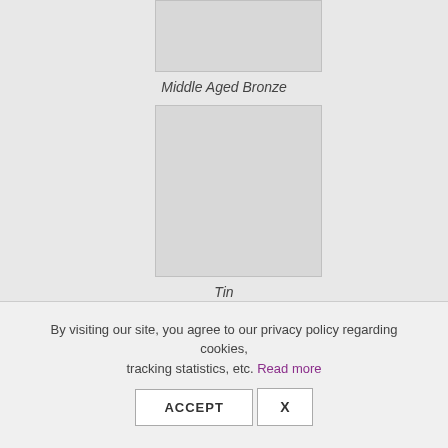[Figure (photo): Partially visible image placeholder at top, labeled Middle Aged Bronze]
Middle Aged Bronze
[Figure (photo): Square image placeholder in center, labeled Tin]
Tin
[Figure (photo): Partially visible image placeholder at bottom]
By visiting our site, you agree to our privacy policy regarding cookies, tracking statistics, etc. Read more
ACCEPT  X